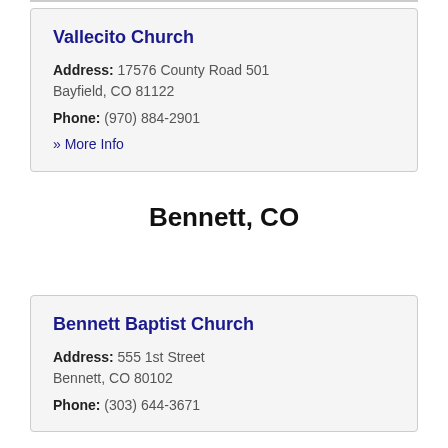Vallecito Church
Address: 17576 County Road 501
Bayfield, CO 81122
Phone: (970) 884-2901
» More Info
Bennett, CO
Bennett Baptist Church
Address: 555 1st Street
Bennett, CO 80102
Phone: (303) 644-3671